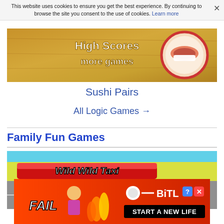This website uses cookies to ensure you get the best experience. By continuing to browse the site you consent to the use of cookies. Learn more
[Figure (screenshot): Sushi Pairs game screenshot showing wooden background with High Scores and more games text, and a sushi plate on the right]
Sushi Pairs
All Logic Games →
Family Fun Games
[Figure (screenshot): Wild Wild Taxi game screenshot with red banner title, taxi car, START and High Scores buttons on gray road background]
[Figure (advertisement): BitLife advertisement banner with FAIL text, character illustration, flames, and START A NEW LIFE button]